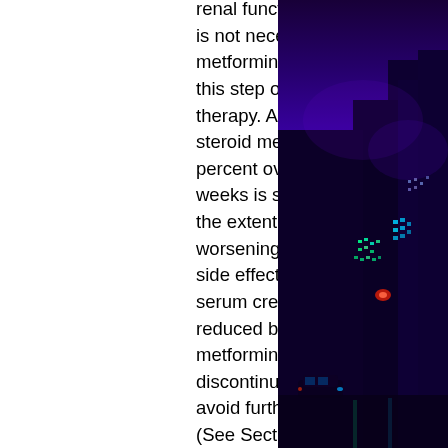renal function) for 5-6 weeks. It is not necessary to stop using metformin for the duration of this step of renal replacement therapy. A reduction of 1-2, steroid medicine side effects.5 percent over at least 1-3 weeks is seen, depending on the extent of the acute worsening, steroid medicine side effects. In patients whose serum creatinine levels are reduced beyond 1 percent, metformin should be discontinued immediately to avoid further renal damage. (See Section 4, "Patient Counseling" in this publication for more information, can i lose weight while taking prednisolone.)
If a rapid fall in the patient's renal function (1,000- to 1,200-ml/min increase in creatinine concentrations in 24 hours in a single session) does not lead to a change in patient management, a second stage of replacement therapy should be initiated. (See Section 4, "Patient Counseling" in this
[Figure (photo): Night cityscape photo showing illuminated buildings against a dark purple/blue sky, with vibrant neon colors including green, cyan, and red lights visible on the buildings.]